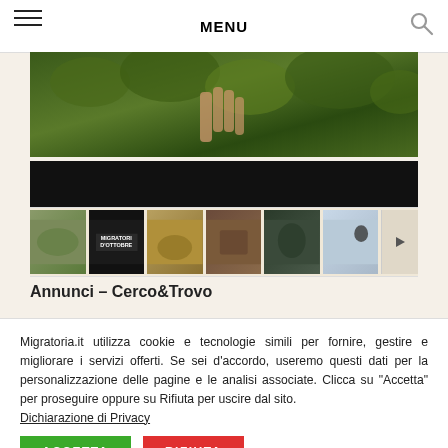MENU
[Figure (photo): Hero image showing hands picking leaves/olives from a plant, with dark cinematic lower section]
[Figure (photo): Thumbnail strip with 7 hunting/nature video thumbnails including one labeled MIGRATORI D'OTTOBRE]
Annunci – Cerco&Trovo
Migratoria.it utilizza cookie e tecnologie simili per fornire, gestire e migliorare i servizi offerti. Se sei d'accordo, useremo questi dati per la personalizzazione delle pagine e le analisi associate. Clicca su "Accetta" per proseguire oppure su Rifiuta per uscire dal sito. Dichiarazione di Privacy
ACCETTA
RIFIUTA